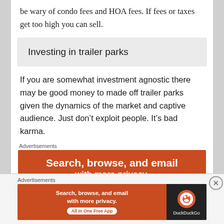be wary of condo fees and HOA fees. If fees or taxes get too high you can sell.
Investing in trailer parks
If you are somewhat investment agnostic there may be good money to made off trailer parks given the dynamics of the market and captive audience. Just don’t exploit people. It’s bad karma.
Advertisements
[Figure (screenshot): DuckDuckGo advertisement banner with orange background reading 'Search, browse, and email with more privacy.' partially visible]
Advertisements
[Figure (screenshot): DuckDuckGo advertisement banner with orange background and dark right panel showing DuckDuckGo logo, text reads 'Search, browse, and email with more privacy. All in One Free App']